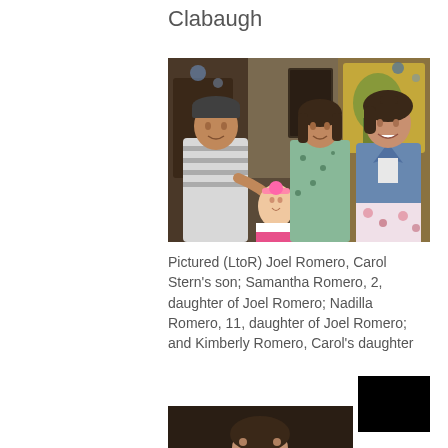Clabaugh
[Figure (photo): Family photo showing four people: a man in a striped shirt and cap, a toddler girl in a pink and white dress with flower headband, a teenage girl in a green floral dress, and a woman in a denim jacket and floral skirt, posed together indoors with rustic decor background.]
Pictured (LtoR) Joel Romero, Carol Stern's son; Samantha Romero, 2, daughter of Joel Romero; Nadilla Romero, 11, daughter of Joel Romero; and Kimberly Romero, Carol's daughter
[Figure (photo): Bottom partial photo showing people, mostly cropped.]